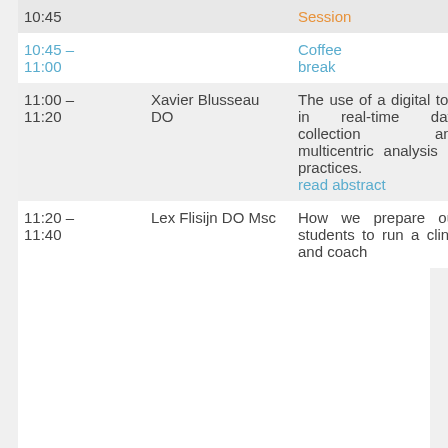| Time | Speaker | Description |
| --- | --- | --- |
| 10:45 |  | Session |
| 10:45 – 11:00 |  | Coffee break |
| 11:00 – 11:20 | Xavier Blusseau DO | The use of a digital tool in real-time data collection and multicentric analysis of practices. read abstract |
| 11:20 – 11:40 | Lex Flisijn DO Msc | How we prepare our students to run a clinic and coach the... |